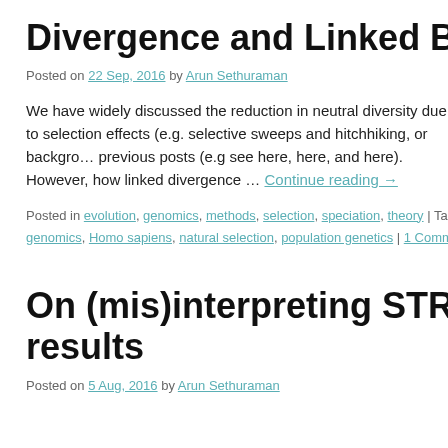Divergence and Linked Background…
Posted on 22 Sep, 2016 by Arun Sethuraman
We have widely discussed the reduction in neutral diversity due to selection effects (e.g. selective sweeps and hitchhiking, or background selection) in previous posts (e.g see here, here, and here). However, how linked selection affects divergence … Continue reading →
Posted in evolution, genomics, methods, selection, speciation, theory | Tagged g… genomics, Homo sapiens, natural selection, population genetics | 1 Comment
On (mis)interpreting STRUCTURE results
Posted on 5 Aug, 2016 by Arun Sethuraman